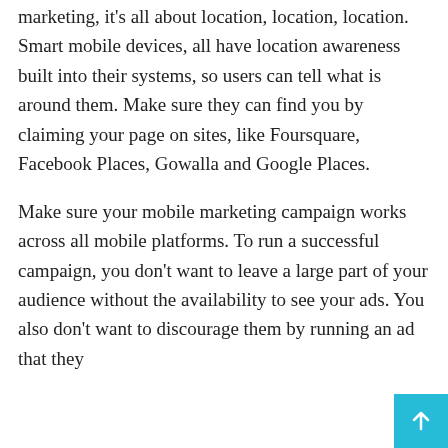marketing, it's all about location, location, location. Smart mobile devices, all have location awareness built into their systems, so users can tell what is around them. Make sure they can find you by claiming your page on sites, like Foursquare, Facebook Places, Gowalla and Google Places.
Make sure your mobile marketing campaign works across all mobile platforms. To run a successful campaign, you don't want to leave a large part of your audience without the availability to see your ads. You also don't want to discourage them by running an ad that they